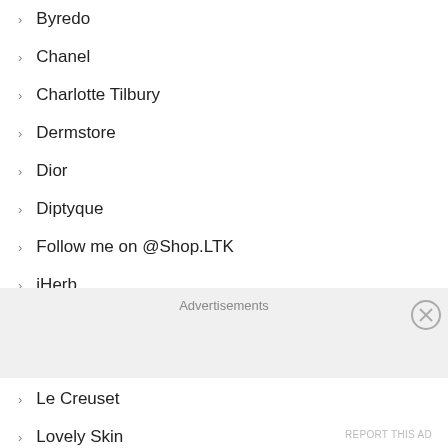Byredo
Chanel
Charlotte Tilbury
Dermstore
Dior
Diptyque
Follow me on @Shop.LTK
iHerb
La Mer
Laneige
Le Creuset
Lovely Skin
MAC Cosmetics
Macy's
Michael's
Neiman Marcus
Nordstrom
Nordstrom Rack
Advertisements
REPORT THIS AD